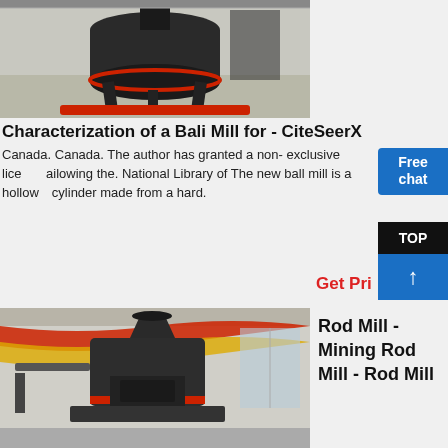[Figure (photo): Industrial ball mill machine with black cylindrical body on a factory floor with red base]
Characterization of a Bali Mill for - CiteSeerX
Canada. Canada. The author has granted a non- exclusive license allowing the. National Library of The new ball mill is a hollow cylinder made from a hard.
[Figure (photo): Rod mill machine in a factory setting with red and yellow decorative ribbons]
Rod Mill - Mining Rod Mill - Rod Mill